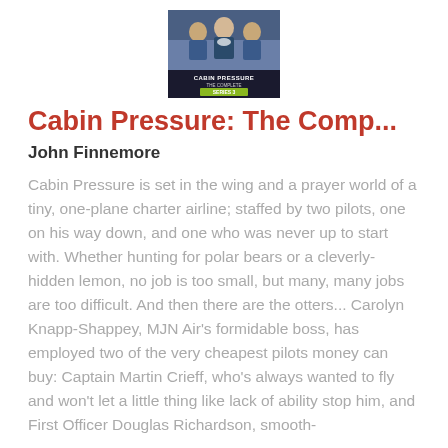[Figure (photo): Book cover of Cabin Pressure: The Complete Series 3, showing three people in pilot/flight crew uniforms against a blue background with the show title text.]
Cabin Pressure: The Comp...
John Finnemore
Cabin Pressure is set in the wing and a prayer world of a tiny, one-plane charter airline; staffed by two pilots, one on his way down, and one who was never up to start with. Whether hunting for polar bears or a cleverly-hidden lemon, no job is too small, but many, many jobs are too difficult. And then there are the otters... Carolyn Knapp-Shappey, MJN Air's formidable boss, has employed two of the very cheapest pilots money can buy: Captain Martin Crieff, who's always wanted to fly and won't let a little thing like lack of ability stop him, and First Officer Douglas Richardson, smooth-